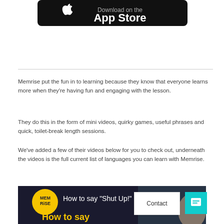[Figure (logo): Apple App Store download button badge with white Apple logo and 'App Store' text on black rounded rectangle background]
Memrise put the fun in to learning because they know that everyone learns more when they're having fun and engaging with the lesson.
They do this in the form of mini videos, quirky games, useful phrases and quick, toilet-break length sessions.
We've added a few of their videos below for you to check out, underneath the videos is the full current list of languages you can learn with Memrise.
[Figure (screenshot): Memrise video thumbnail showing yellow Memrise logo circle, text 'How to say "Shut Up!" in' and bottom text 'How to say' in yellow, with a woman visible on the right side]